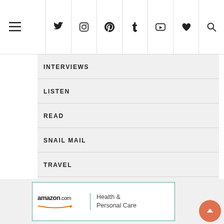Navigation header with hamburger menu and social icons: Twitter, Instagram, Pinterest, Tumblr, YouTube, Favorites, Search
INTERVIEWS
LISTEN
READ
SNAIL MAIL
TRAVEL
WATCH
[Figure (screenshot): Amazon.com Health & Personal Care advertisement banner]
Health & Personal Care